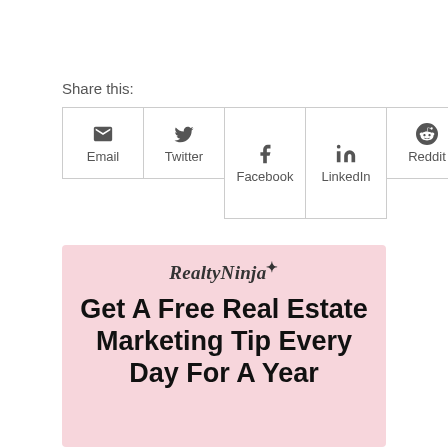Share this:
[Figure (screenshot): Social share buttons row: Email, Twitter, Facebook (tall), LinkedIn (tall), Reddit, Print]
[Figure (illustration): RealtyNinja branded promo box with pink background showing logo and text: Get A Free Real Estate Marketing Tip Every Day For A Year]